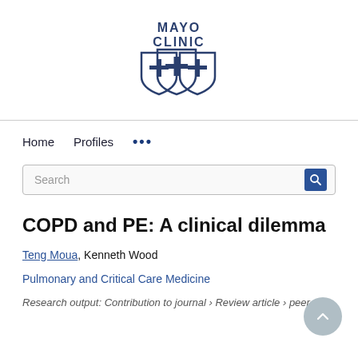[Figure (logo): Mayo Clinic logo with text 'MAYO CLINIC' above a blue shield emblem]
Home   Profiles   ...
Search
COPD and PE: A clinical dilemma
Teng Moua, Kenneth Wood
Pulmonary and Critical Care Medicine
Research output: Contribution to journal › Review article › peer-review